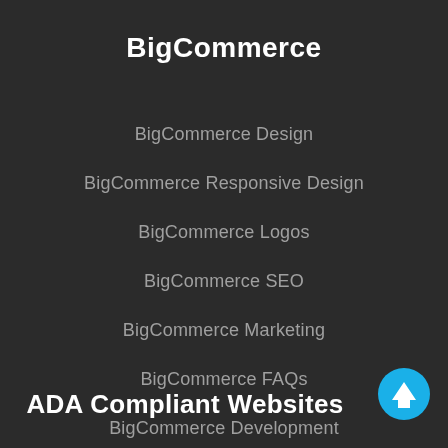BigCommerce
BigCommerce Design
BigCommerce Responsive Design
BigCommerce Logos
BigCommerce SEO
BigCommerce Marketing
BigCommerce FAQs
BigCommerce Development
ADA Compliant Websites